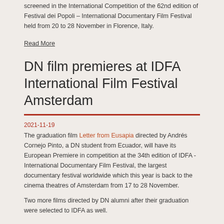screened in the International Competition of the 62nd edition of Festival dei Popoli – International Documentary Film Festival held from 20 to 28 November in Florence, Italy.
Read More
DN film premieres at IDFA International Film Festival Amsterdam
2021-11-19
The graduation film Letter from Eusapia directed by Andrés Cornejo Pinto, a DN student from Ecuador, will have its European Premiere in competition at the 34th edition of IDFA - International Documentary Film Festival, the largest documentary festival worldwide which this year is back to the cinema theatres of Amsterdam from 17 to 28 November.
Two more films directed by DN alumni after their graduation were selected to IDFA as well.